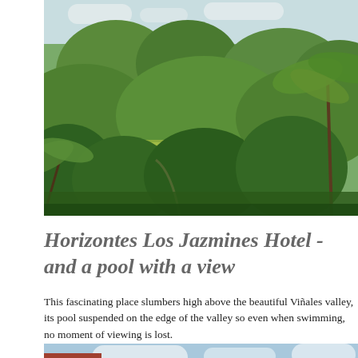[Figure (photo): Aerial lush tropical valley landscape with karst mountains, green dense forest canopy, palm trees in foreground, and open fields in the distance. This is the Viñales valley in Cuba.]
Horizontes Los Jazmines Hotel - and a pool with a view
This fascinating place slumbers high above the beautiful Viñales valley, its pool suspended on the edge of the valley so even when swimming, no moment of viewing is lost.
[Figure (photo): Bottom partial view of a pink building with red tile roof under a bright blue sky with white clouds.]